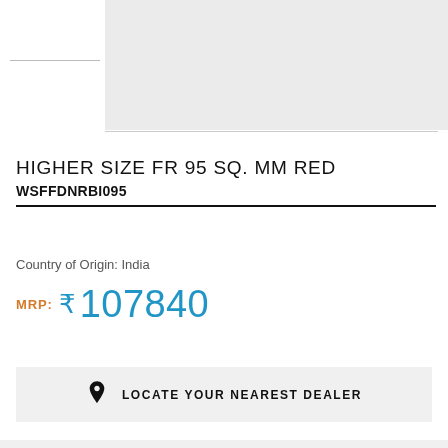[Figure (photo): Product image placeholder area (light gray rectangle)]
HIGHER SIZE FR 95 SQ. MM RED
WSFFDNRBI095
Country of Origin: India
MRP: ₹ 107840
LOCATE YOUR NEAREST DEALER